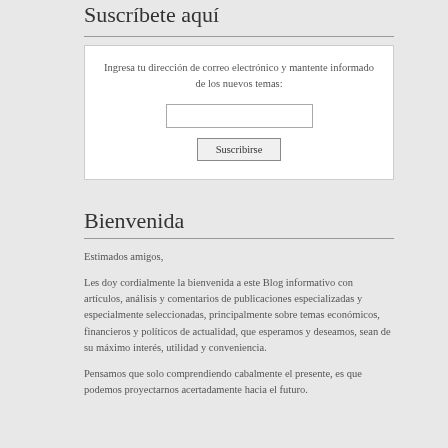Suscríbete aquí
Ingresa tu dirección de correo electrónico y mantente informado de los nuevos temas:
Bienvenida
Estimados amigos,
Les doy cordialmente la bienvenida a este Blog informativo con artículos, análisis y comentarios de publicaciones especializadas y especialmente seleccionadas, principalmente sobre temas económicos, financieros y políticos de actualidad, que esperamos y deseamos, sean de su máximo interés, utilidad y conveniencia.
Pensamos que solo comprendiendo cabalmente el presente, es que podemos proyectarnos acertadamente hacia el futuro.